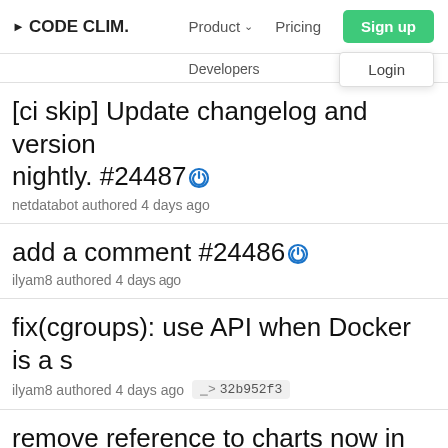CODE CLIM. | Product ∨ | Pricing | Sign up | Login
Developers
[ci skip] Update changelog and version nightly. #24487 — netdatabot authored 4 days ago
add a comment #24486 — ilyam8 authored 4 days ago
fix(cgroups): use API when Docker is a s... — ilyam8 authored 4 days ago · 32b952f3
remove reference to charts now in netd... — Andrew Maguire authored 5 days ago · 5655fe00